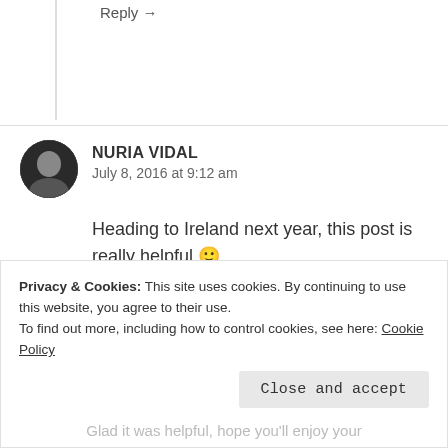Reply →
NURIA VIDAL
July 8, 2016 at 9:12 am
Heading to Ireland next year, this post is really helpful 🙂
★ Liked by 1 person
Reply →
Privacy & Cookies: This site uses cookies. By continuing to use this website, you agree to their use.
To find out more, including how to control cookies, see here: Cookie Policy
Close and accept
Glad it was helpful, hope you'll enjoy your